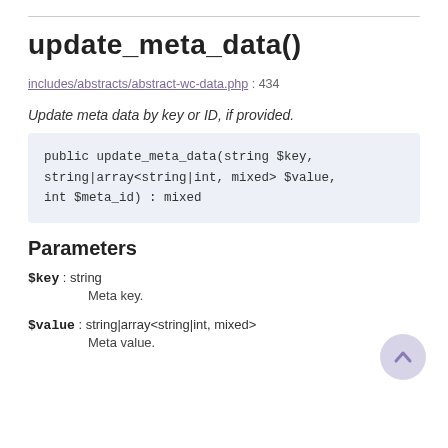update_meta_data()
includes/abstracts/abstract-wc-data.php : 434
Update meta data by key or ID, if provided.
public update_meta_data(string $key, string|array<string|int, mixed> $value, int $meta_id) : mixed
Parameters
$key : string
    Meta key.
$value : string|array<string|int, mixed>
    Meta value.